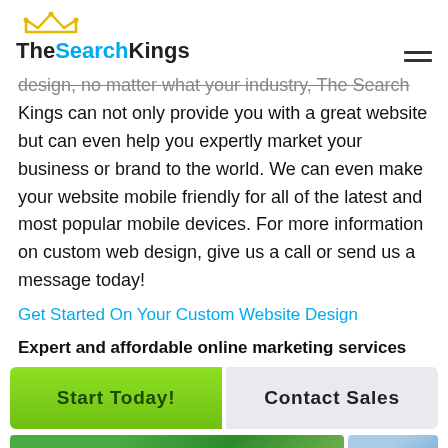TheSearchKings
design, no matter what your industry, The Search Kings can not only provide you with a great website but can even help you expertly market your business or brand to the world. We can even make your website mobile friendly for all of the latest and most popular mobile devices. For more information on custom web design, give us a call or send us a message today!
Get Started On Your Custom Website Design
Expert and affordable online marketing services
Start Today!
Contact Sales
[Figure (photo): Two small thumbnail images at the bottom of the page, one showing a green graphic and one showing a blue/grey graphic.]